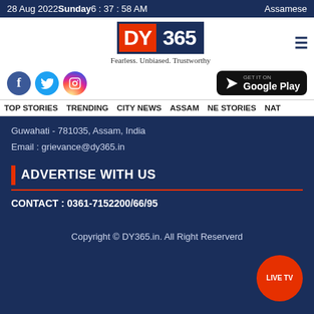28 Aug 2022 Sunday 6 : 37 : 58 AM   Assamese
[Figure (logo): DY365 logo with tagline Fearless. Unbiased. Trustworthy]
[Figure (other): Social media icons: Facebook, Twitter, Instagram and Google Play button]
TOP STORIES   TRENDING   CITY NEWS   ASSAM   NE STORIES   NAT
Guwahati - 781035, Assam, India
Email : grievance@dy365.in
ADVERTISE WITH US
CONTACT : 0361-7152200/66/95
Copyright © DY365.in. All Right Reserverd